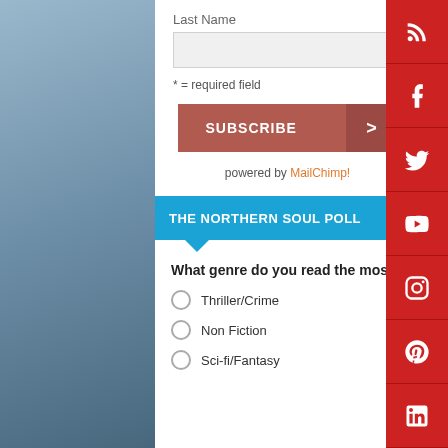Last Name
* = required field
SUBSCRIBE >
powered by MailChimp!
THE NORTHERN SOUL POLL
What genre do you read the most?
Thriller/Crime
Non Fiction
Sci-fi/Fantasy